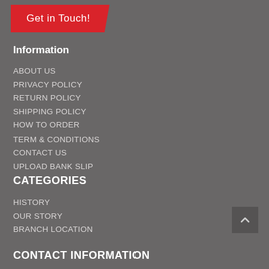[Figure (illustration): Red banner/ribbon shape with 'Get in Touch!' text in white handwriting font]
Information
ABOUT US
PRIVACY POLICY
RETURN POLICY
SHIPPING POLICY
HOW TO ORDER
TERM & CONDITIONS
CONTACT US
UPLOAD BANK SLIP
CATEGORIES
HISTORY
OUR STORY
BRANCH LOCATION
CONTACT INFORMATION